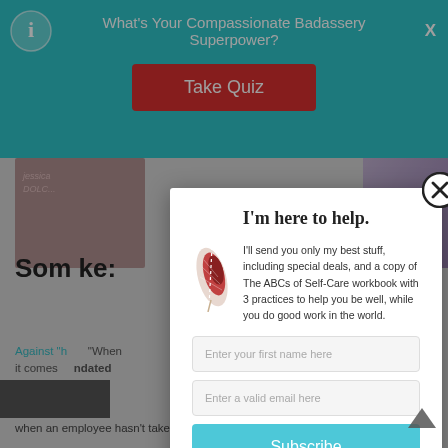[Figure (screenshot): Top teal banner with quiz prompt saying 'What's Your Compassionate Badassery Superpower?' and a red 'Take Quiz' button]
[Figure (screenshot): Background article page partially visible showing article heading starting with 'Som...ke:' and body text about PTO]
[Figure (screenshot): Email subscription modal overlay with title 'I'm here to help.', feather illustration, description text, name and email input fields, Subscribe button, and privacy note]
I'm here to help.
I'll send you only my best stuff, including special deals, and a copy of The ABCs of Self-Care workbook with 3 practices to help you be well, while you do good work in the world.
Enter your first name here
Enter a valid email here
Subscribe
Your information will *never* be shared or sold to a 3rd party.